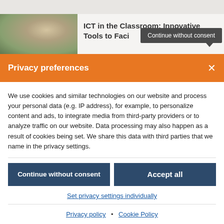[Figure (photo): Blurred classroom photo showing children in a learning environment]
ICT in the Classroom: Innovative Tools to Faci...
Continue without consent
Privacy preferences
We use cookies and similar technologies on our website and process your personal data (e.g. IP address), for example, to personalize content and ads, to integrate media from third-party providers or to analyze traffic on our website. Data processing may also happen as a result of cookies being set. We share this data with third parties that we name in the privacy settings.
Continue without consent
Accept all
Set privacy settings individually
Privacy policy • Cookie Policy